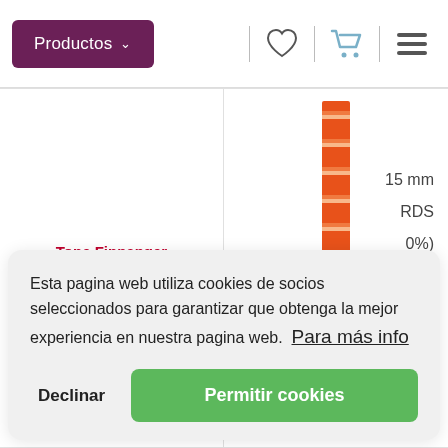Productos
Tone Finnanger
Tone Finnanger
[Figure (illustration): Orange/red decorative ribbon strip with repeating floral or heart pattern]
15 mm
RDS
0%)
Esta pagina web utiliza cookies de socios seleccionados para garantizar que obtenga la mejor experiencia en nuestra pagina web.  Para más info
Declinar
Permitir cookies